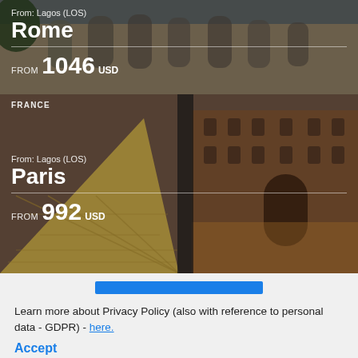[Figure (photo): Rome destination card showing the Colosseum with text overlay: 'From: Lagos (LOS)', city name 'Rome', price 'FROM 1046 USD']
[Figure (photo): Paris destination card showing the Louvre Pyramid and museum building with text overlay: 'FRANCE', 'From: Lagos (LOS)', city name 'Paris', price 'FROM 992 USD']
Learn more about Privacy Policy (also with reference to personal data - GDPR) - here.
Accept